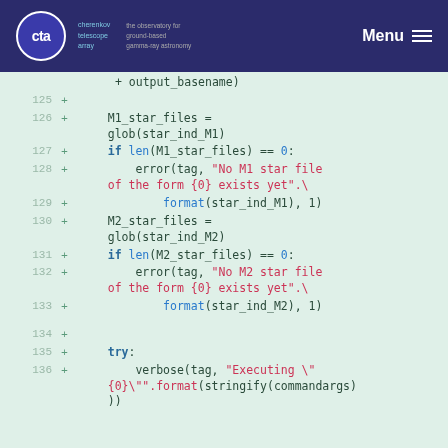CTA — Cherenkov Telescope Array | Menu
Code snippet lines 125–136 showing Python diff with M1_star_files, M2_star_files, error handling and verbose call